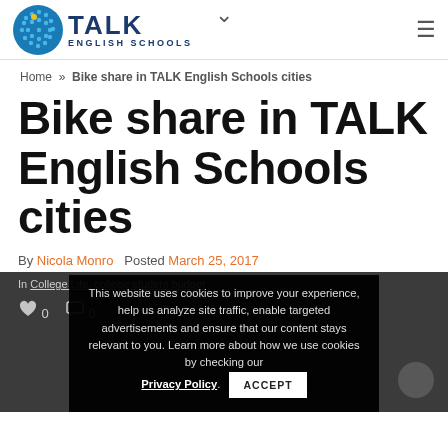TALK ENGLISH SCHOOLS
Home » Bike share in TALK English Schools cities
Bike share in TALK English Schools cities
By Nicola Monro  Posted March 25, 2017
In College Life, college student budget
This website uses cookies to improve your experience, help us analyze site traffic, enable targeted advertisements and ensure that our content stays relevant to you. Learn more about how we use cookies by checking our Privacy Policy. ACCEPT